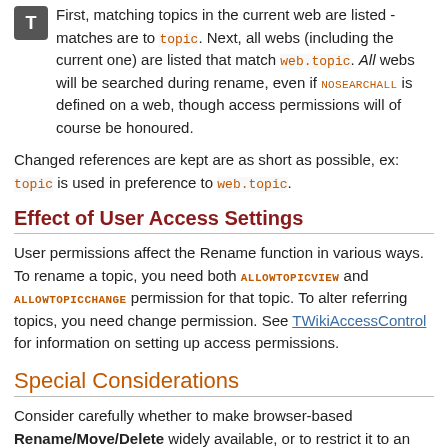First, matching topics in the current web are listed - matches are to topic. Next, all webs (including the current one) are listed that match web.topic. All webs will be searched during rename, even if NOSEARCHALL is defined on a web, though access permissions will of course be honoured.
Changed references are kept are as short as possible, ex: topic is used in preference to web.topic.
Effect of User Access Settings
User permissions affect the Rename function in various ways. To rename a topic, you need both ALLOWTOPICVIEW and ALLOWTOPICCHANGE permission for that topic. To alter referring topics, you need change permission. See TWikiAccessControl for information on setting up access permissions.
Special Considerations
Consider carefully whether to make browser-based Rename/Move/Delete widely available, or to restrict it to an administrator/moderator group. Allowing all users to easily